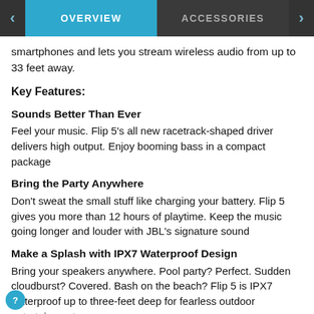OVERVIEW | ACCESSORIES
smartphones and lets you stream wireless audio from up to 33 feet away.
Key Features:
Sounds Better Than Ever
Feel your music. Flip 5's all new racetrack-shaped driver delivers high output. Enjoy booming bass in a compact package
Bring the Party Anywhere
Don't sweat the small stuff like charging your battery. Flip 5 gives you more than 12 hours of playtime. Keep the music going longer and louder with JBL's signature sound
Make a Splash with IPX7 Waterproof Design
Bring your speakers anywhere. Pool party? Perfect. Sudden cloudburst? Covered. Bash on the beach? Flip 5 is IPX7 waterproof up to three-feet deep for fearless outdoor entertainment
A Rainbow of Colors
With 11 distinct color options, the Flip 5 is anything but boring. Broaden your spectrum with JBL's signature